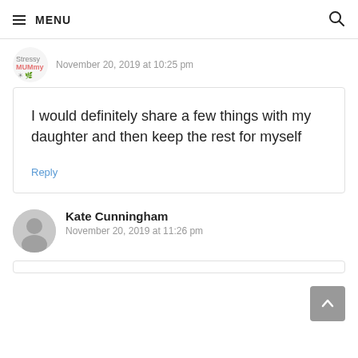MENU
November 20, 2019 at 10:25 pm
I would definitely share a few things with my daughter and then keep the rest for myself
Reply
Kate Cunningham
November 20, 2019 at 11:26 pm